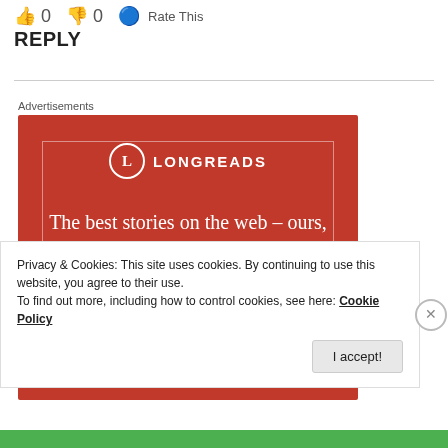0  0  Rate This
REPLY
Advertisements
[Figure (illustration): Longreads advertisement banner on red background. Logo with circle L and text LONGREADS. Tagline: The best stories on the web – ours, and everyone else's. Black Start reading button.]
Privacy & Cookies: This site uses cookies. By continuing to use this website, you agree to their use.
To find out more, including how to control cookies, see here: Cookie Policy
I accept!